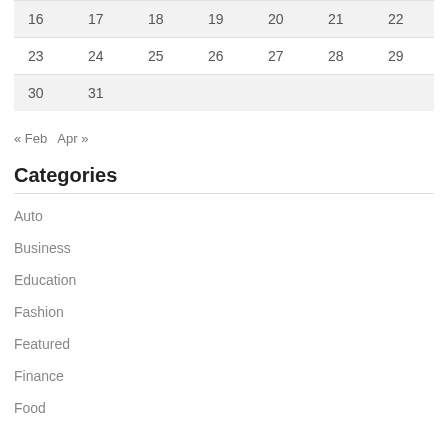| 16 | 17 | 18 | 19 | 20 | 21 | 22 |
| 23 | 24 | 25 | 26 | 27 | 28 | 29 |
| 30 | 31 |  |  |  |  |  |
« Feb  Apr »
Categories
Auto
Business
Education
Fashion
Featured
Finance
Food